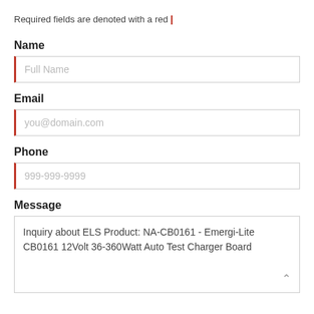Required fields are denoted with a red |
Name
Full Name
Email
you@domain.com
Phone
999-999-9999
Message
Inquiry about ELS Product: NA-CB0161 - Emergi-Lite CB0161 12Volt 36-360Watt Auto Test Charger Board